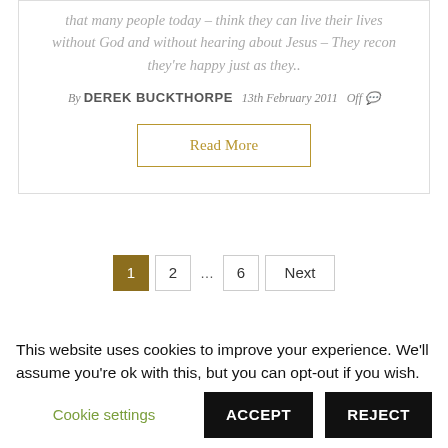that many people today – think they can live their lives without God and without hearing about Jesus – They recon they're happy just as they..
By DEREK BUCKTHORPE   13th February 2011   Off
Read More
1  2  …  6  Next
Search
This website uses cookies to improve your experience. We'll assume you're ok with this, but you can opt-out if you wish.
Cookie settings
ACCEPT
REJECT